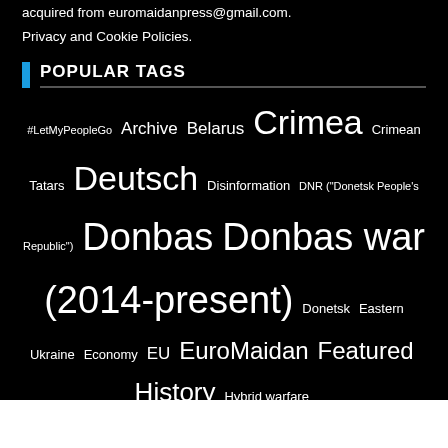acquired from euromaidanpress@gmail.com.
Privacy and Cookie Policies.
POPULAR TAGS
#LetMyPeopleGo Archive Belarus Crimea Crimean Tatars Deutsch Disinformation DNR ("Donetsk People's Republic") Donbas Donbas war (2014-present) Donetsk Eastern Ukraine Economy EU EuroMaidan Featured History Hybrid warfare International Military analysis NATO News Op-ed Petro Poroshenko Political prisoners Politics Putin Putin regime Russia Russia's Anschluss of Crimea Russia's confrontation with the West Russia's hybrid war Russian aggression